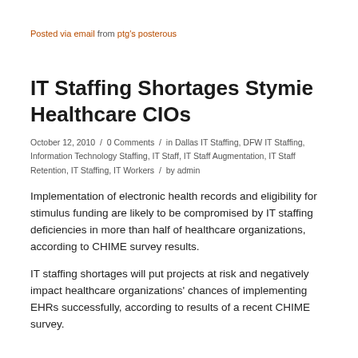Posted via email from ptg's posterous
IT Staffing Shortages Stymie Healthcare CIOs
October 12, 2010 / 0 Comments / in Dallas IT Staffing, DFW IT Staffing, Information Technology Staffing, IT Staff, IT Staff Augmentation, IT Staff Retention, IT Staffing, IT Workers / by admin
Implementation of electronic health records and eligibility for stimulus funding are likely to be compromised by IT staffing deficiencies in more than half of healthcare organizations, according to CHIME survey results.
IT staffing shortages will put projects at risk and negatively impact healthcare organizations' chances of implementing EHRs successfully, according to results of a recent CHIME survey.